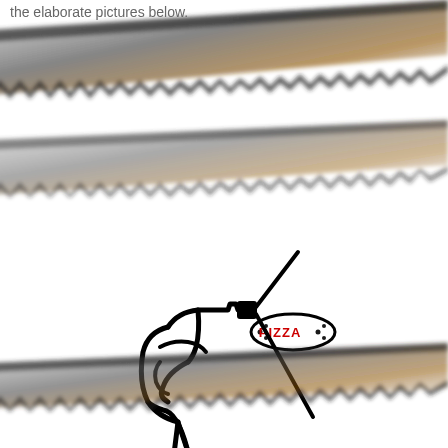the elaborate pictures below.
[Figure (photo): Background photo of a serrated knife blade, shown diagonally, appearing at the top and bottom of the page as a repeated decorative background image.]
[Figure (illustration): A hand-drawn illustration on a white background showing a stick-figure hand with two fingers pointing like a gun, with a speech bubble or label reading 'PIZZA' in red text with dots around it, connected by a diagonal line.]